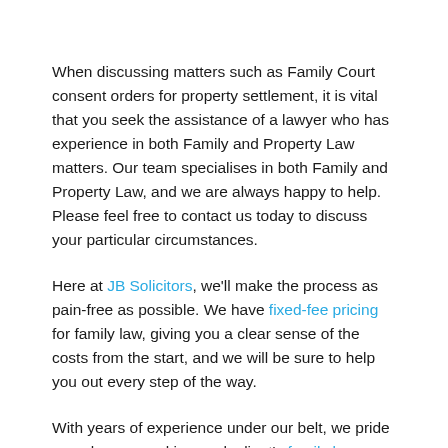When discussing matters such as Family Court consent orders for property settlement, it is vital that you seek the assistance of a lawyer who has experience in both Family and Property Law matters. Our team specialises in both Family and Property Law, and we are always happy to help. Please feel free to contact us today to discuss your particular circumstances.
Here at JB Solicitors, we'll make the process as pain-free as possible. We have fixed-fee pricing for family law, giving you a clear sense of the costs from the start, and we will be sure to help you out every step of the way.
With years of experience under our belt, we pride ourselves on making each client's family law experience as positive as possible.
Contact JB Solicitors today to speak with one of our friendly and experienced family lawyers.